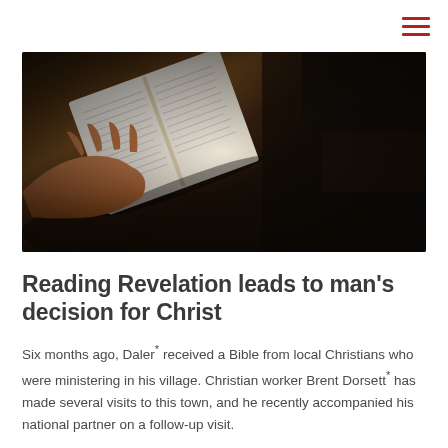≡
[Figure (photo): Person holding an open book/Bible, reading in a dark room setting. Hands visible holding white pages of an open book, dark moody background.]
Reading Revelation leads to man's decision for Christ
Six months ago, Daler* received a Bible from local Christians who were ministering in his village. Christian worker Brent Dorsett* has made several visits to this town, and he recently accompanied his national partner on a follow-up visit.